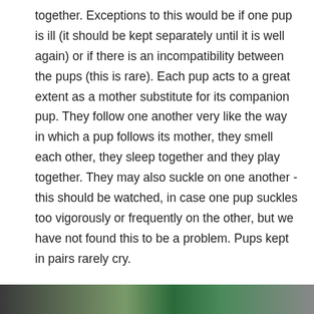together. Exceptions to this would be if one pup is ill (it should be kept separately until it is well again) or if there is an incompatibility between the pups (this is rare). Each pup acts to a great extent as a mother substitute for its companion pup. They follow one another very like the way in which a pup follows its mother, they smell each other, they sleep together and they play together. They may also suckle on one another - this should be watched, in case one pup suckles too vigorously or frequently on the other, but we have not found this to be a problem. Pups kept in pairs rarely cry.
[Figure (photo): Partial photo strip visible at bottom of page showing what appears to be puppies or animals, cropped at page edge.]